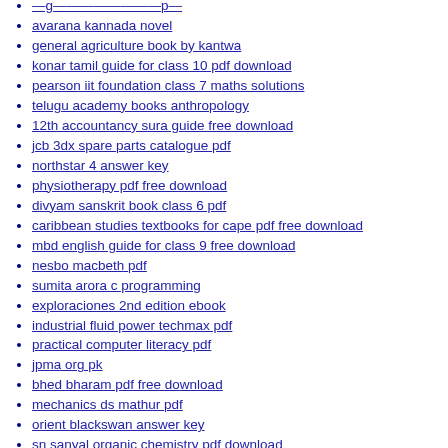avarana kannada novel
general agriculture book by kantwa
konar tamil guide for class 10 pdf download
pearson iit foundation class 7 maths solutions
telugu academy books anthropology
12th accountancy sura guide free download
jcb 3dx spare parts catalogue pdf
northstar 4 answer key
physiotherapy pdf free download
divyam sanskrit book class 6 pdf
caribbean studies textbooks for cape pdf free download
mbd english guide for class 9 free download
nesbo macbeth pdf
sumita arora c programming
exploraciones 2nd edition ebook
industrial fluid power techmax pdf
practical computer literacy pdf
jpma org pk
bhed bharam pdf free download
mechanics ds mathur pdf
orient blackswan answer key
sn sanyal organic chemistry pdf download
radicals & visionaries pdf
ncc handbook in hindi pdf
batatvachi chal pdf to read